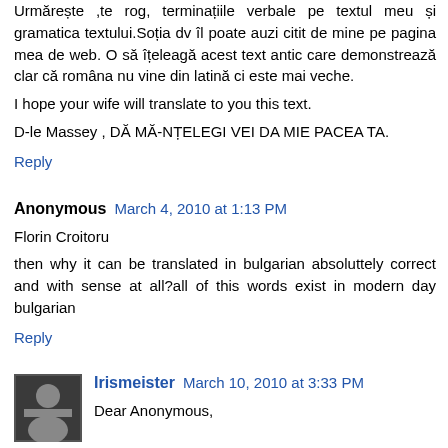Urmărește ,te rog, terminațiile verbale pe textul meu și gramatica textului.Soția dv îl poate auzi citit de mine pe pagina mea de web. O să îțeleagă acest text antic care demonstrează clar că româna nu vine din latină ci este mai veche.
I hope your wife will translate to you this text.
D-le Massey , DĂ MĂ-NȚELEGI VEI DA MIE PACEA TA.
Reply
Anonymous  March 4, 2010 at 1:13 PM
Florin Croitoru
then why it can be translated in bulgarian absoluttely correct and with sense at all?all of this words exist in modern day bulgarian
Reply
[Figure (photo): Avatar photo of Irismeister - small square portrait photo of a person]
Irismeister  March 10, 2010 at 3:33 PM
Dear Anonymous,